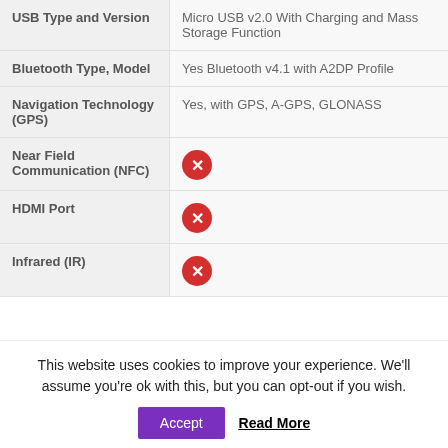| Feature | Value |
| --- | --- |
| USB Type and Version | Micro USB v2.0 With Charging and Mass Storage Function |
| Bluetooth Type, Model | Yes Bluetooth v4.1 with A2DP Profile |
| Navigation Technology (GPS) | Yes, with GPS, A-GPS, GLONASS |
| Near Field Communication (NFC) | [X icon] |
| HDMI Port | [X icon] |
| Infrared (IR) | [X icon] |
This website uses cookies to improve your experience. We'll assume you're ok with this, but you can opt-out if you wish.
Accept | Read More